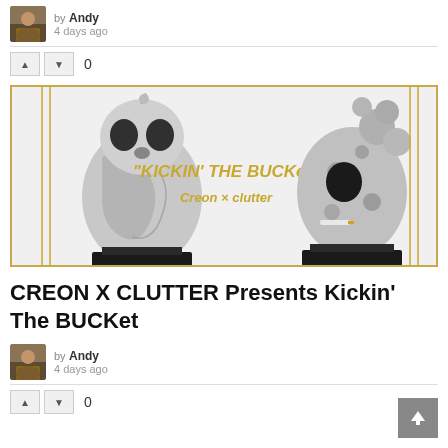by Andy
4 days ago
[Figure (photo): Two artistic skull-themed figurines on black bases with marbled gray/silver paint, featuring text 'KICKIN' THE BUCKet' in gold with 'Creon x Clutter' branding]
CREON X CLUTTER Presents Kickin' The BUCKet
by Andy
4 days ago